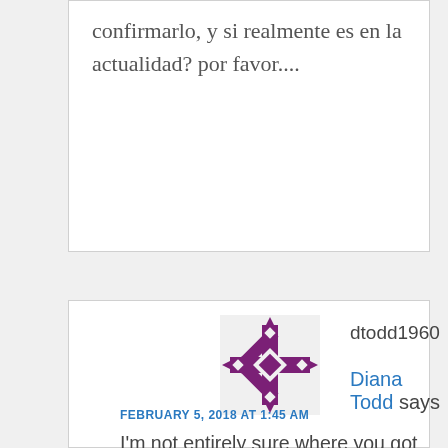confirmarlo, y si realmente es en la actualidad? por favor....
[Figure (illustration): Purple decorative snowflake/cross avatar icon for user dtodd1960]
dtodd1960
Diana Todd says
FEBRUARY 5, 2018 AT 1:45 AM
I'm not entirely sure where you got some of your information, but there are some major errors, and gaps. While time limits what I can say here, one error I would like to address is your information on the Order of